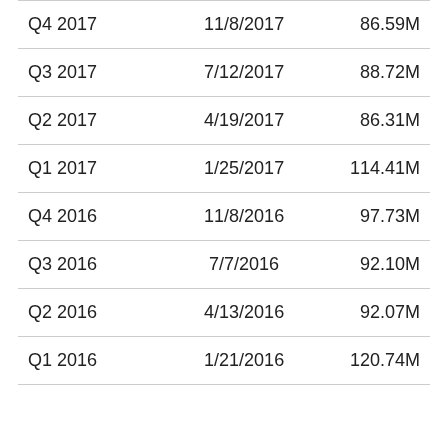| Q4 2017 | 11/8/2017 | 86.59M |
| Q3 2017 | 7/12/2017 | 88.72M |
| Q2 2017 | 4/19/2017 | 86.31M |
| Q1 2017 | 1/25/2017 | 114.41M |
| Q4 2016 | 11/8/2016 | 97.73M |
| Q3 2016 | 7/7/2016 | 92.10M |
| Q2 2016 | 4/13/2016 | 92.07M |
| Q1 2016 | 1/21/2016 | 120.74M |